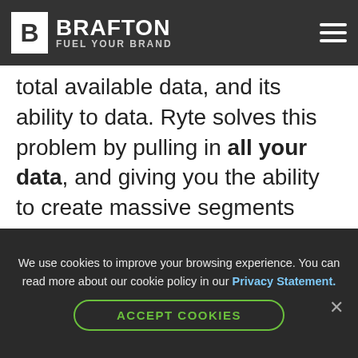BRAFTON — FUEL YOUR BRAND
total available data, and its ability to data. Ryte solves this problem by pulling in all your data, and giving you the ability to create massive segments based on pages, keywords, geographies, etc., and aggregating the data into individual reports. ler
[Figure (screenshot): Bulk upload pages dialog showing a list of brafton.com URLs in a green-bordered box]
We use cookies to improve your browsing experience. You can read more about our cookie policy in our Privacy Statement.
ACCEPT COOKIES